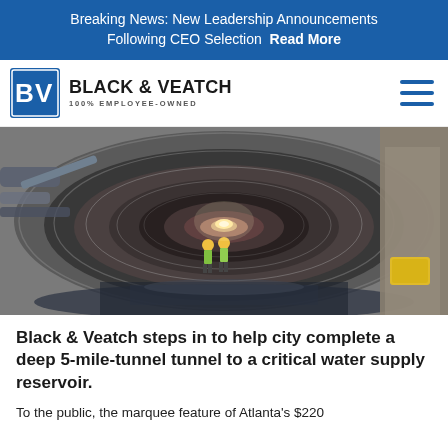Breaking News: New Leadership Announcements Following CEO Selection  Read More
[Figure (logo): Black & Veatch logo with BV icon and text '100% EMPLOYEE-OWNED']
[Figure (photo): Interior of a large circular underground tunnel with two workers in hi-vis vests walking toward the light at the far end; water/mud on tunnel floor; construction equipment on left; yellow bag on right]
Black & Veatch steps in to help city complete a deep 5-mile-tunnel tunnel to a critical water supply reservoir.
To the public, the marquee feature of Atlanta's $220